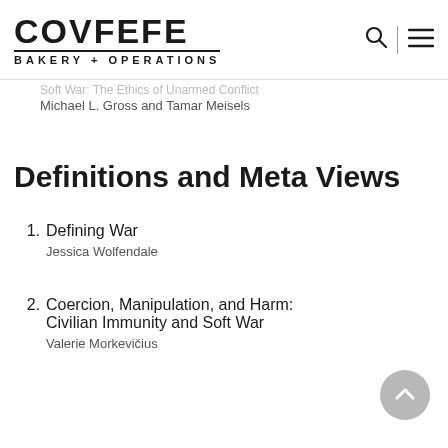COVFEFE BAKERY + OPERATIONS
Soft War: The Ethics of Unarmed Conflict
Michael L. Gross and Tamar Meisels
Definitions and Meta Views
1. Defining War
Jessica Wolfendale
2. Coercion, Manipulation, and Harm: Civilian Immunity and Soft War
Valerie Morkevičius